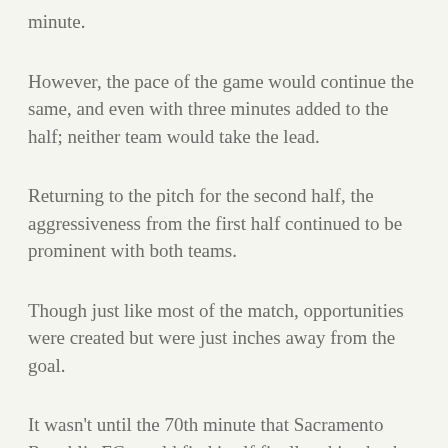minute.
However, the pace of the game would continue the same, and even with three minutes added to the half; neither team would take the lead.
Returning to the pitch for the second half, the aggressiveness from the first half continued to be prominent with both teams.
Though just like most of the match, opportunities were created but were just inches away from the goal.
It wasn't until the 70th minute that Sacramento Republic FC would find itself finally taking back the lead. Luis Felipe Rodriques would be just